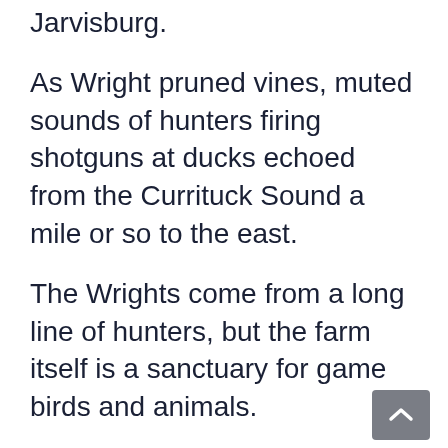Jarvisburg.
As Wright pruned vines, muted sounds of hunters firing shotguns at ducks echoed from the Currituck Sound a mile or so to the east.
The Wrights come from a long line of hunters, but the farm itself is a sanctuary for game birds and animals.
A flock of snow geese grazed in a corn field on the back end of the property. A hawk called as it flew overhead.